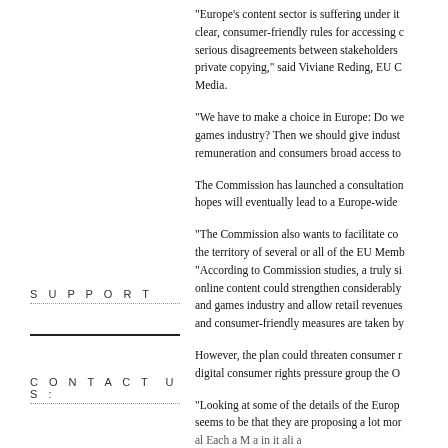"Europe's content sector is suffering under it... clear, consumer-friendly rules for accessing c... serious disagreements between stakeholders... private copying," said Viviane Reding, EU C... Media.
"We have to make a choice in Europe: Do we... games industry? Then we should give indust... remuneration and consumers broad access to...
The Commission has launched a consultation... hopes will eventually lead to a Europe-wide...
"The Commission also wants to facilitate co... the territory of several or all of the EU Memb... "According to Commission studies, a truly si... online content could strengthen considerably... and games industry and allow retail revenues... and consumer-friendly measures are taken by...
S U P P O R T
However, the plan could threaten consumer r... digital consumer rights pressure group the O...
C O N T A C T  U S :
"Looking at some of the details of the Europ... seems to be that they are proposing a lot mor...